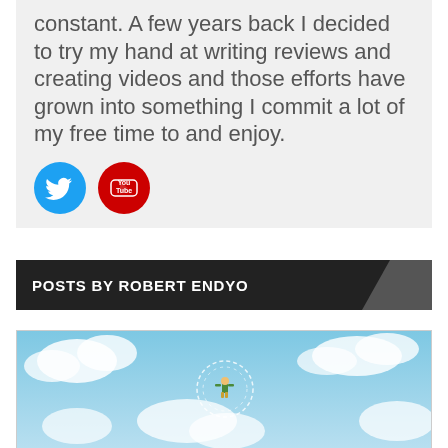constant. A few years back I decided to try my hand at writing reviews and creating videos and those efforts have grown into something I commit a lot of my free time to and enjoy.
[Figure (illustration): Twitter bird icon (blue circle) and YouTube logo icon (red circle with play button)]
POSTS BY ROBERT ENDYO
[Figure (photo): A game character (Link from Zelda) floating/jumping in a bright blue sky with white clouds and glowing sparkle trails around him]